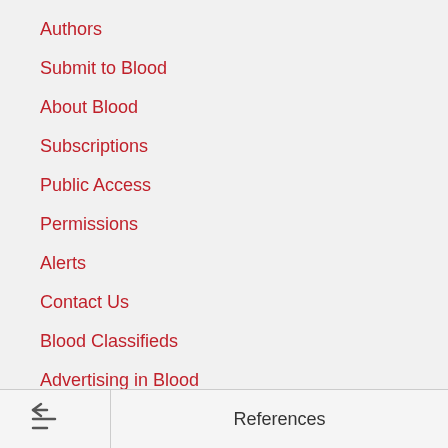Authors
Submit to Blood
About Blood
Subscriptions
Public Access
Permissions
Alerts
Contact Us
Blood Classifieds
Advertising in Blood
Terms and Conditions
Twitter
References